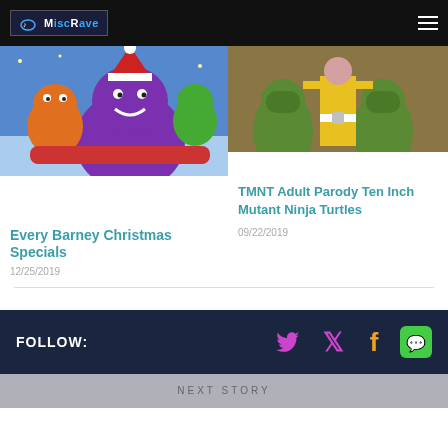MiscRave
[Figure (photo): Barney and friends Christmas special animated image showing Barney (purple dinosaur) in a Santa hat with orange and green characters in a sleigh]
[Figure (photo): TMNT live action image showing Ninja Turtles costumes and a person in yellow suit]
TMNT Adult Parody Ten Inch Mutant Ninja Turtles
09/22/2019
Every Barney Christmas Specials
12/25/2019
FOLLOW:
NEXT STORY